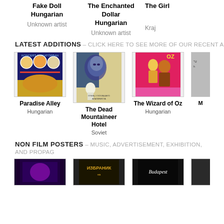Fake Doll
Hungarian
Unknown artist
The Enchanted Dollar
Hungarian
Unknown artist
The Girl
Kraj...
LATEST ADDITIONS – CLICK HERE TO SEE MORE OF OUR RECENT ACQUISITIONS
[Figure (photo): Movie poster for Paradise Alley, colorful illustration with wrestlers]
[Figure (photo): Movie poster for The Dead Mountaineer Hotel, Soviet style with woman face and man]
[Figure (photo): Movie poster for The Wizard of Oz, red background with characters in yellow]
[Figure (photo): Partially visible movie poster]
Paradise Alley
Hungarian
The Dead Mountaineer Hotel
Soviet
The Wizard of Oz
Hungarian
M...
NON FILM POSTERS – MUSIC, ADVERTISEMENT, EXHIBITION, AND PROPAGANDA
[Figure (photo): Dark poster with purple/magenta color]
[Figure (photo): Poster with Russian/Cyrillic text ИЗБРАНИК]
[Figure (photo): Budapest poster with dark background]
[Figure (photo): Partially visible poster]